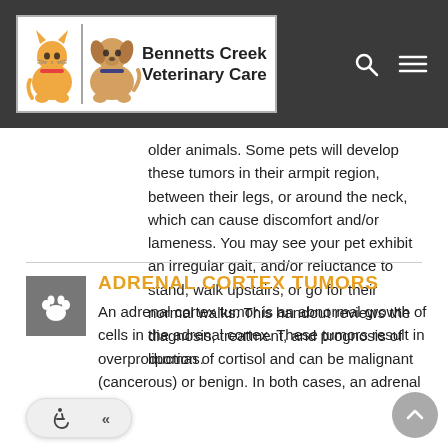Bennetts Creek Veterinary Care
older animals. Some pets will develop these tumors in their armpit region, between their legs, or around the neck, which can cause discomfort and/or lameness. You may see your pet exhibit an irregular gait, and/or reluctance to stand, walk upstairs, or go for their normal walks. This handout reviews the diagnosis, treatment, and prognosis of lipomas.
ADRENAL CORTEX TUMORS
An adrenal cortex tumor is an abnormal growth of cells in the adrenal cortex. These tumors result in overproduction of cortisol and can be malignant (cancerous) or benign. In both cases, an adrenal